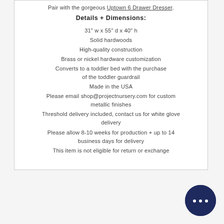Pair with the gorgeous Uptown 6 Drawer Dresser.
Details + Dimensions:
31" w x 55" d x 40" h
Solid hardwoods
High-quality construction
Brass or nickel hardware customization
Converts to a toddler bed with the purchase of the toddler guardrail
Made in the USA
Please email shop@projectnursery.com for custom metallic finishes
Threshold delivery included, contact us for white glove delivery
Please allow 8-10 weeks for production + up to 14 business days for delivery
This item is not eligible for return or exchange
[Figure (other): Chat bubble icon with ellipsis, dark navy circle button in bottom right corner]